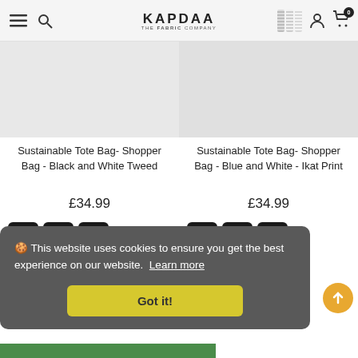KAPDAA - THE FABRIC COMPANY
Sustainable Tote Bag- Shopper Bag - Black and White Tweed
£34.99
Sustainable Tote Bag- Shopper Bag - Blue and White - Ikat Print
£34.99
🍪 This website uses cookies to ensure you get the best experience on our website. Learn more
Got it!